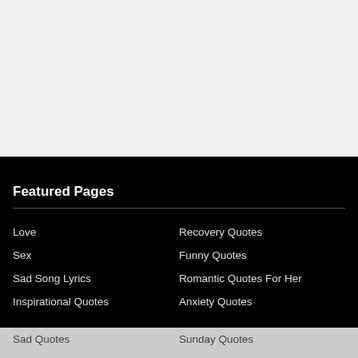[Figure (other): Light grey blank top section of webpage]
Featured Pages
Love
Recovery Quotes
Sex
Funny Quotes
Sad Song Lyrics
Romantic Quotes For Her
Inspirational Quotes
Anxiety Quotes
Sad Quotes
Sunday Quotes
Friendship Quotes
Emo Quotes